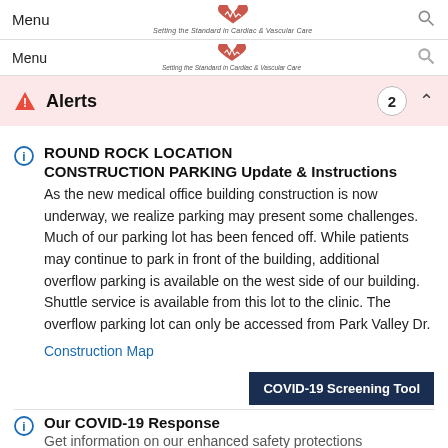Menu | Setting the Standard in Cardiac & Vascular Care | [search]
Menu | Setting the Standard in Cardiac & Vascular Care | [search]
Alerts 2
ROUND ROCK LOCATION
CONSTRUCTION PARKING Update & Instructions
As the new medical office building construction is now underway, we realize parking may present some challenges. Much of our parking lot has been fenced off. While patients may continue to park in front of the building, additional overflow parking is available on the west side of our building. Shuttle service is available from this lot to the clinic. The overflow parking lot can only be accessed from Park Valley Dr.
Construction Map
COVID-19 Screening Tool
Our COVID-19 Response
Get information on our enhanced safety protections